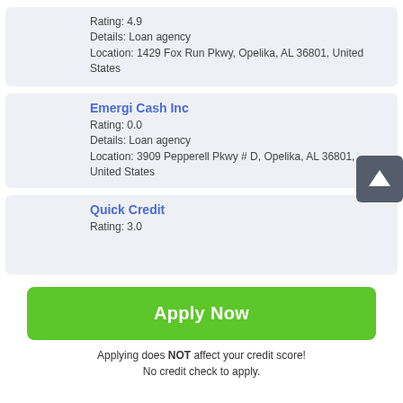[Figure (other): Map placeholder icon with red X overlay for first listing]
Rating: 4.9
Details: Loan agency
Location: 1429 Fox Run Pkwy, Opelika, AL 36801, United States
[Figure (other): Map placeholder icon with red X overlay for Emergi Cash Inc]
Emergi Cash Inc
Rating: 0.0
Details: Loan agency
Location: 3909 Pepperell Pkwy # D, Opelika, AL 36801, United States
[Figure (other): Map placeholder icon with red X overlay for Quick Credit]
Quick Credit
Rating: 3.0
[Figure (other): Scroll to top button with upward arrow]
Apply Now
Applying does NOT affect your credit score!
No credit check to apply.